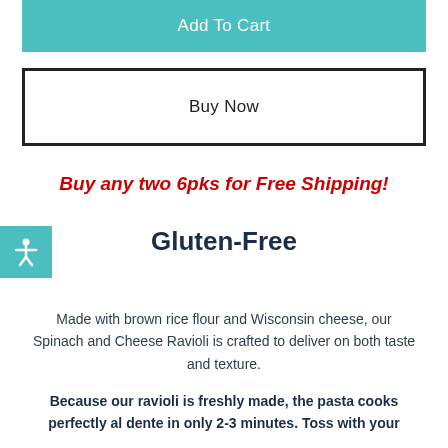Add To Cart
Buy Now
Buy any two 6pks for Free Shipping!
Gluten-Free
Made with brown rice flour and Wisconsin cheese, our Spinach and Cheese Ravioli is crafted to deliver on both taste and texture.
Because our ravioli is freshly made, the pasta cooks perfectly al dente in only 2-3 minutes. Toss with your